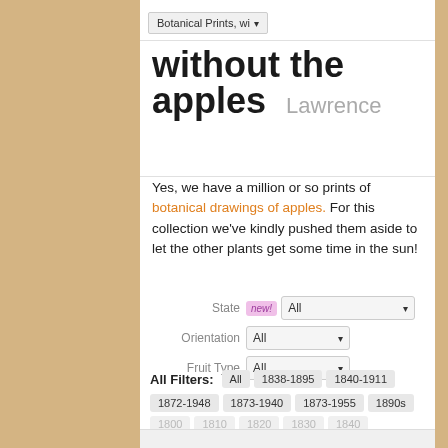Botanical Prints, wi▾
without the apples  Lawrence
Yes, we have a million or so prints of botanical drawings of apples. For this collection we've kindly pushed them aside to let the other plants get some time in the sun!
| Filter | Badge | Value |
| --- | --- | --- |
| State | new! | All |
| Orientation |  | All |
| Fruit Type |  | All |
All Filters: All  1838-1895  1840-1911  1872-1948  1873-1940  1873-1955  1890s